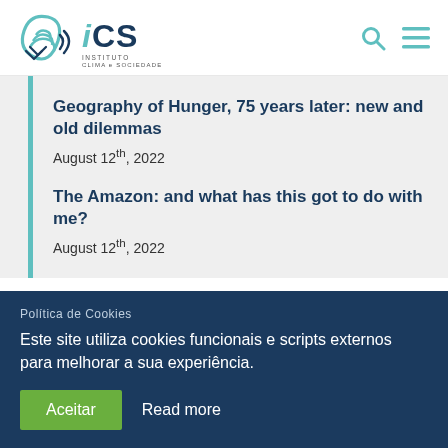[Figure (logo): iCS - Instituto Clima e Sociedade logo with teal wave/leaf icon and dark blue text]
Geography of Hunger, 75 years later: new and old dilemmas
August 12th, 2022
The Amazon: and what has this got to do with me?
August 12th, 2022
Política de Cookies
Este site utiliza cookies funcionais e scripts externos para melhorar a sua experiência.
Aceitar   Read more